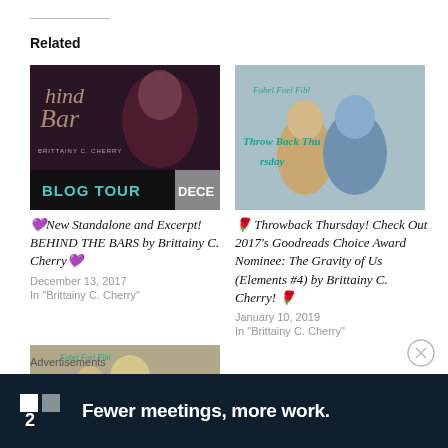Related
[Figure (photo): Book blog tour cover image for 'Behind the Bars' by Brittainy C. Cherry with text 'BLOG TOUR']
💜New Standalone and Excerpt! BEHIND THE BARS by Brittainy C. Cherry💜
December 13, 2017
In "Brittainy C. Cherry"
[Figure (photo): Throwback Thursday figurines photo with teal script text overlay]
🌹 Throwback Thursday! Check Out 2017's Goodreads Choice Award Nominee: The Gravity of Us (Elements #4) by Brittainy C. Cherry! 🌹
January 10, 2019
In "Brittainy C. Cherry"
[Figure (photo): Third related post image - figurines photo similar to Throwback Thursday]
Advertisements
[Figure (screenshot): Advertisement banner: logo with two squares and '2' then text 'Fewer meetings, more work.']